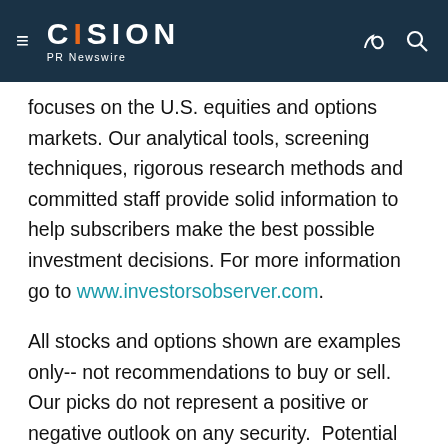CISION PR Newswire
focuses on the U.S. equities and options markets. Our analytical tools, screening techniques, rigorous research methods and committed staff provide solid information to help subscribers make the best possible investment decisions. For more information go to www.investorsobserver.com.
All stocks and options shown are examples only-- not recommendations to buy or sell. Our picks do not represent a positive or negative outlook on any security.  Potential returns do not take into account your trade size, brokerage commissions or taxes-- expenses that will affect actual investment returns. Stocks and options involve risk, thus they are not